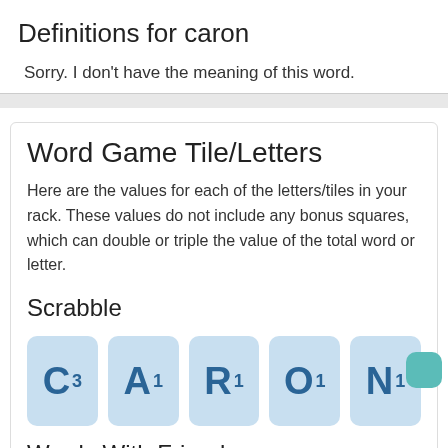Definitions for caron
Sorry. I don't have the meaning of this word.
Word Game Tile/Letters
Here are the values for each of the letters/tiles in your rack. These values do not include any bonus squares, which can double or triple the value of the total word or letter.
Scrabble
[Figure (infographic): Scrabble tiles for the word CARON: C3, A1, R1, O1, N1 displayed as light blue tiles]
Words With Friends